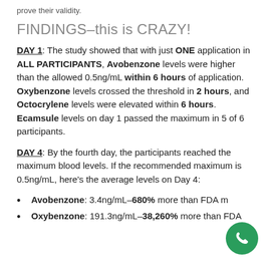prove their validity.
FINDINGS–this is CRAZY!
DAY 1: The study showed that with just ONE application in ALL PARTICIPANTS, Avobenzone levels were higher than the allowed 0.5ng/mL within 6 hours of application. Oxybenzone levels crossed the threshold in 2 hours, and Octocrylene levels were elevated within 6 hours. Ecamsule levels on day 1 passed the maximum in 5 of 6 participants.
DAY 4: By the fourth day, the participants reached the maximum blood levels. If the recommended maximum is 0.5ng/mL, here's the average levels on Day 4:
Avobenzone: 3.4ng/mL–680% more than FDA m…
Oxybenzone: 191.3ng/mL–38,260% more than FDA…